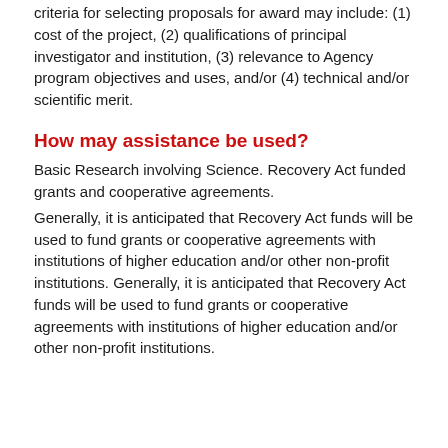criteria for selecting proposals for award may include: (1) cost of the project, (2) qualifications of principal investigator and institution, (3) relevance to Agency program objectives and uses, and/or (4) technical and/or scientific merit.
How may assistance be used?
Basic Research involving Science. Recovery Act funded grants and cooperative agreements.
Generally, it is anticipated that Recovery Act funds will be used to fund grants or cooperative agreements with institutions of higher education and/or other non-profit institutions. Generally, it is anticipated that Recovery Act funds will be used to fund grants or cooperative agreements with institutions of higher education and/or other non-profit institutions.